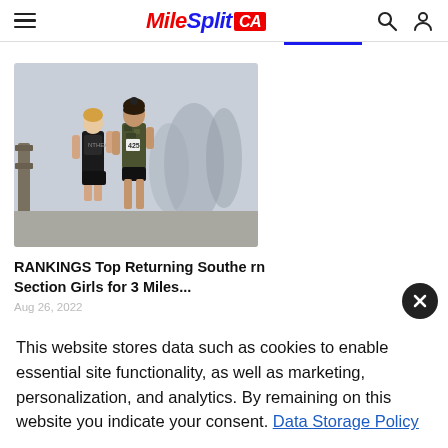MileSplit CA
[Figure (photo): Two female cross-country runners racing, wearing black and yellow uniforms, running on a paved path with blurred spectators in background.]
RANKINGS Top Returning Southern Section Girls for 3 Miles...
Aug 26, 2022
This website stores data such as cookies to enable essential site functionality, as well as marketing, personalization, and analytics. By remaining on this website you indicate your consent. Data Storage Policy